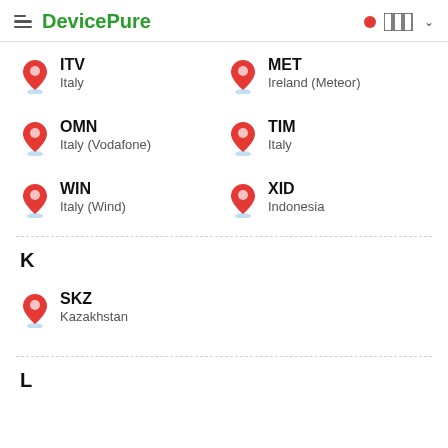DevicePure
ITV — Italy
MET — Ireland (Meteor)
OMN — Italy (Vodafone)
TIM — Italy
WIN — Italy (Wind)
XID — Indonesia
K
SKZ — Kazakhstan
L